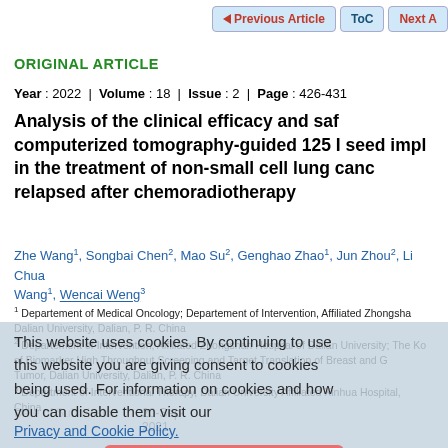Previous Article | ToC | Next Article
ORIGINAL ARTICLE
Year : 2022 | Volume : 18 | Issue : 2 | Page : 426-431
Analysis of the clinical efficacy and safety of computerized tomography-guided 125 I seed implantation in the treatment of non-small cell lung cancer relapsed after chemoradiotherapy
Zhe Wang1, Songbai Chen2, Mao Su2, Genghao Zhao1, Jun Zhou2, Li Chuang Wang1, Wencai Weng3
1 Departement of Medical Oncology; Departement of Intervention, Affiliated Zhongshan Hospital of Dalian University, Dalian, P. R. China
2 Departement of Intervention, Affiliated Zhongshan Hospital of Dalian University; The Key Laboratory of Biomarker High Throughput Screening and Target Translation of Breast and Gastrointestinal Tumor, Dalian University, Dalian, P. R. China
3 Department of Interventional Therapy, Dalian University Affiliated Xinhua Hospital, China
Date of Submission 20-Sep-2021